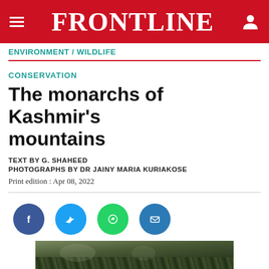FRONTLINE
ENVIRONMENT / WILDLIFE
CONSERVATION
The monarchs of Kashmir's mountains
TEXT BY G. SHAHEED
PHOTOGRAPHS BY DR JAINY MARIA KURIAKOSE
Print edition : Apr 08, 2022
[Figure (illustration): Social sharing buttons: Facebook (dark blue), Twitter (light blue), WhatsApp (green), Email (blue)]
[Figure (photo): Wildlife photograph showing animals among dense foliage and trees in Kashmir mountains]